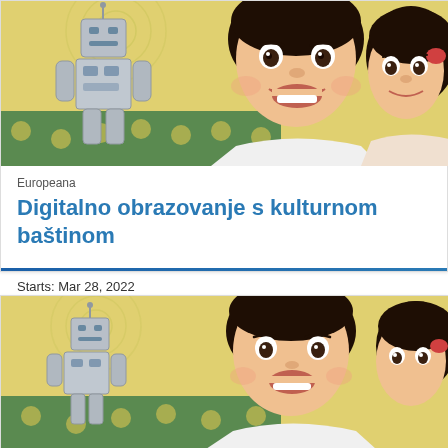[Figure (illustration): Vintage-style illustration showing a metallic robot and two excited children (a boy and a girl) looking at it, with a yellow background and green table. Repeated twice as two card images.]
Europeana
Digitalno obrazovanje s kulturnom baštinom
Starts: Mar 28, 2022
[Figure (illustration): Same vintage-style illustration repeated for second card — robot and children on yellow background.]